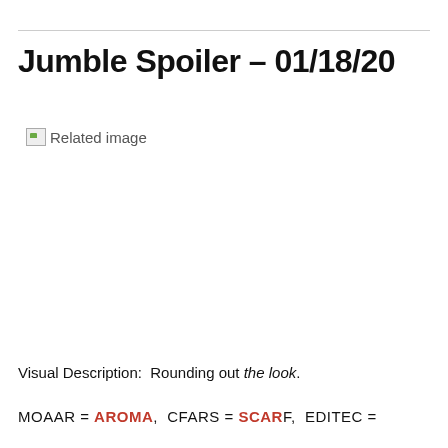Jumble Spoiler – 01/18/20
[Figure (photo): Broken/missing image placeholder labeled 'Related image']
Visual Description:  Rounding out the look.
MOAAR = AROMA, CFARS = SCARF, EDITEC =